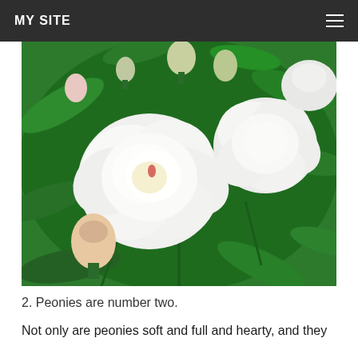MY SITE
[Figure (photo): Close-up photograph of white peony flowers in full bloom surrounded by green leaves, with additional peony buds visible in the background.]
2. Peonies are number two.
Not only are peonies soft and full and hearty, and they